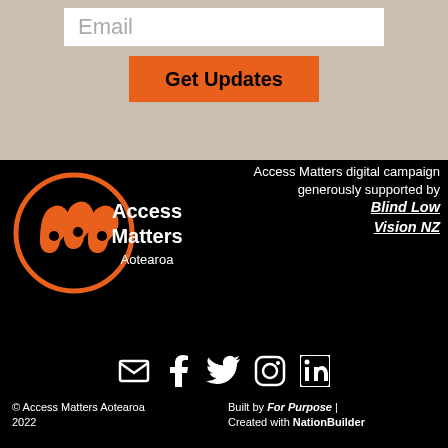Email
Get Updates
[Figure (logo): Access Matters Aotearoa logo — orange koru/circle icon with white text 'Access Matters Aotearoa' on black background]
Access Matters digital campaign generously supported by Blind Low Vision NZ
[Figure (infographic): Social media icons: email, Facebook, Twitter, Instagram, LinkedIn — white icons on black background]
© Access Matters Aotearoa 2022
Built by For Purpose | Created with NationBuilder